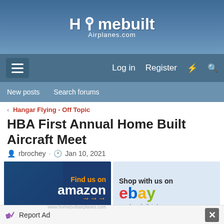Homebuilt Airplanes.com
HBA First Annual Home Built Aircraft Meet
rbrochey · Jan 10, 2021
[Figure (screenshot): Amazon advertisement banner with yellow airplane images and text 'Find us on amazon www.homebuiltairplanes.com']
[Figure (screenshot): eBay advertisement banner with airplane image and text 'Shop with us on ebay www.homebuiltairplanes.com']
[Figure (screenshot): Homebuilt Airplanes.com advertise banner with airplane and ADVERTISE text]
[Figure (screenshot): Battery advertisement banner with text 'THEY REALLY ARE LIGHT IGNI...']
Report Ad